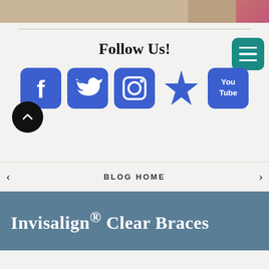[Figure (photo): Partial top strip showing a cropped photo of a person in a striped shirt against a tan/beige background]
Follow Us!
[Figure (infographic): Row of social media icons: Facebook, Twitter, Instagram, Yelp, YouTube, all in blue/indigo rounded square style]
[Figure (other): Teal/green hamburger menu button (three horizontal lines) in top right corner]
[Figure (other): Dark circular scroll-to-top button with upward chevron arrow on the left side]
BLOG HOME
Invisalign® Clear Braces